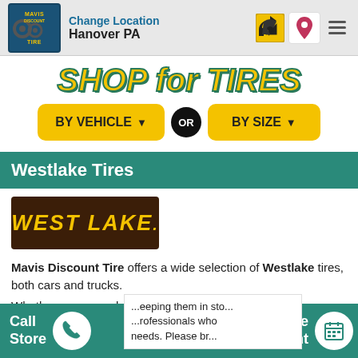Change Location Hanover PA
SHOP for TIRES
BY VEHICLE
BY SIZE
Westlake Tires
[Figure (logo): West Lake tires brand logo — dark brown background with yellow italic WEST LAKE text]
Mavis Discount Tire offers a wide selection of Westlake tires, both cars and trucks.
Whether your search is for a specific tire model or a replacement for your vehicles (OE), original equipment, our buyers know the importance of keeping them in stock and we employ professionals who understand your needs. Please br...
Call Store   OR   Schedule Appointment